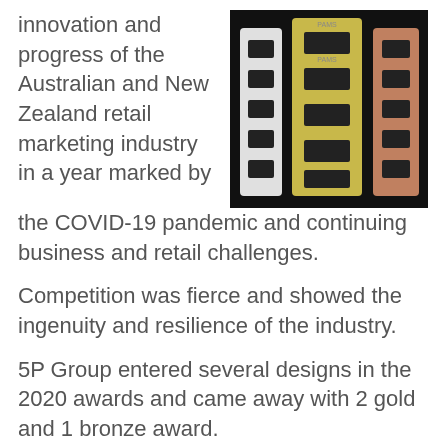innovation and progress of the Australian and New Zealand retail marketing industry in a year marked by the COVID-19 pandemic and continuing business and retail challenges.
[Figure (photo): Photo of three award trophies in gold, silver/white, and rose gold/bronze colors, showing rectangular metallic award plaques stacked vertically.]
Competition was fierce and showed the ingenuity and resilience of the industry.
5P Group entered several designs in the 2020 awards and came away with 2 gold and 1 bronze award.
Here is a summary of the 5P Group 2020